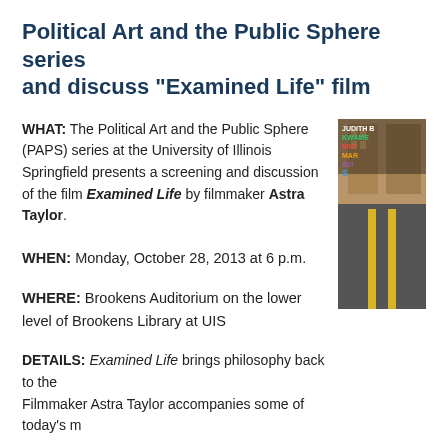Political Art and the Public Sphere series and discuss "Examined Life" film
WHAT: The Political Art and the Public Sphere (PAPS) series at the University of Illinois Springfield presents a screening and discussion of the film Examined Life by filmmaker Astra Taylor.
[Figure (photo): Book cover image showing text with author names including JUDITH, KWAME, MICHAEL, MARK, and others against a street/urban background with yellow lines]
WHEN: Monday, October 28, 2013 at 6 p.m.
WHERE: Brookens Auditorium on the lower level of Brookens Library at UIS
DETAILS: Examined Life brings philosophy back to the... Filmmaker Astra Taylor accompanies some of today's m...